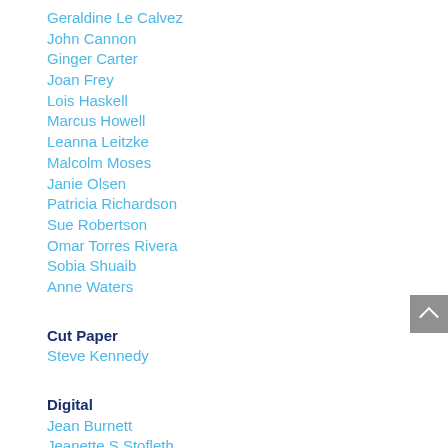Geraldine Le Calvez
John Cannon
Ginger Carter
Joan Frey
Lois Haskell
Marcus Howell
Leanna Leitzke
Malcolm Moses
Janie Olsen
Patricia Richardson
Sue Robertson
Omar Torres Rivera
Sobia Shuaib
Anne Waters
Cut Paper
Steve Kennedy
Digital
Jean Burnett
Jeanette S Stofleth